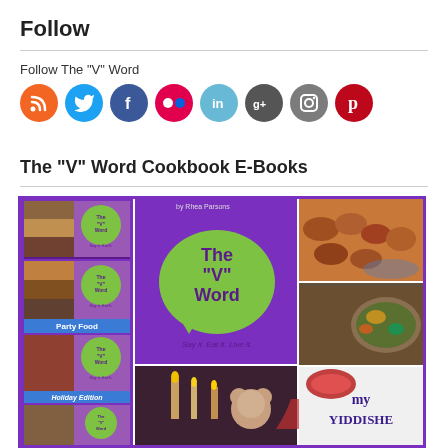Follow
Follow The "V" Word
[Figure (infographic): Row of 8 social media icon circles: RSS (orange), Twitter (blue), Facebook (dark blue), Flickr (pink/red), LinkedIn (light blue), Google+ (dark gray), Instagram (gray), Pinterest (red)]
The “V” Word Cookbook E-Books
[Figure (photo): Collage image showing The V Word cookbook covers and food photos including pastries, soup, meatballs, a dish with red sauce, a holiday scene, and My Yiddishe text in purple Hebrew-style font, surrounded by purple border]